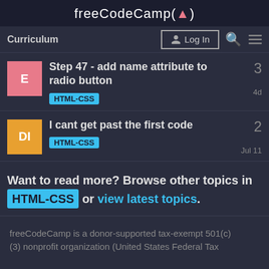freeCodeCamp(🔥)
Curriculum | Log In
Step 47 - add name attribute to radio button
HTML-CSS  4d  replies: 3
I cant get past the first code
HTML-CSS  Jul 11  replies: 2
Want to read more? Browse other topics in HTML-CSS or view latest topics.
freeCodeCamp is a donor-supported tax-exempt 501(c) (3) nonprofit organization (United States Federal Tax